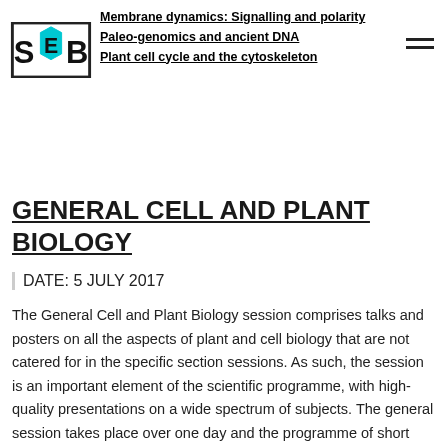Membrane dynamics: Signalling and polarity
Paleo-genomics and ancient DNA
Plant cell cycle and the cytoskeleton
[Figure (logo): SEB logo with S, E (hexagon), B letters in a square border]
GENERAL CELL AND PLANT BIOLOGY
DATE: 5 JULY 2017
The General Cell and Plant Biology session comprises talks and posters on all the aspects of plant and cell biology that are not catered for in the specific section sessions. As such, the session is an important element of the scientific programme, with high-quality presentations on a wide spectrum of subjects. The general session takes place over one day and the programme of short talks will be